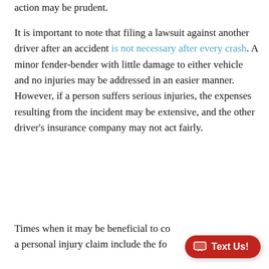action may be prudent.
It is important to note that filing a lawsuit against another driver after an accident is not necessary after every crash. A minor fender-bender with little damage to either vehicle and no injuries may be addressed in an easier manner. However, if a person suffers serious injuries, the expenses resulting from the incident may be extensive, and the other driver’s insurance company may not act fairly.
Times when it may be beneficial to consider filing a personal injury claim include the fol…